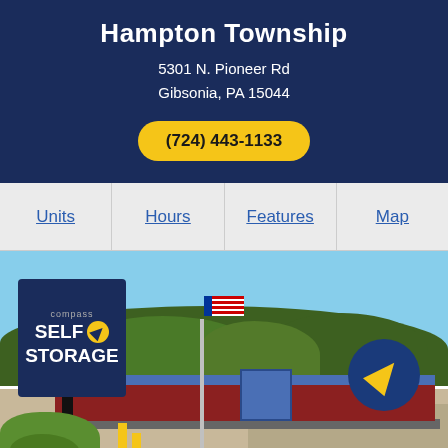Hampton Township
5301 N. Pioneer Rd
Gibsonia, PA 15044
(724) 443-1133
Units | Hours | Features | Map
[Figure (photo): Exterior photo of Compass Self Storage facility in Hampton Township showing the blue sign, storage unit rows, flag pole, trees in background, and blue sky.]